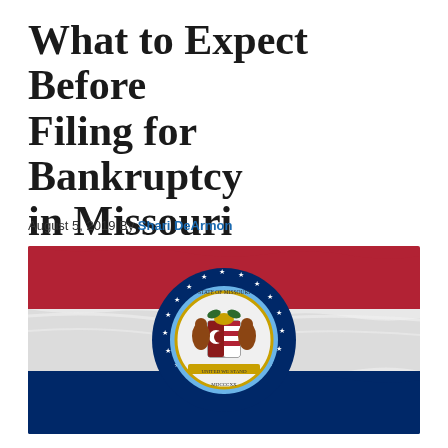What to Expect Before Filing for Bankruptcy in Missouri
August 5, 2019 By Shari DeArmon
[Figure (photo): Missouri state flag waving, showing red, white, and blue horizontal stripes with the Missouri state seal in the center on a navy blue circle with stars]